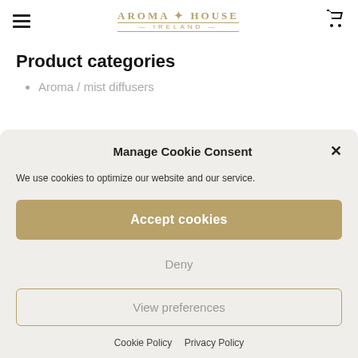AROMA HOUSE IRELAND
Product categories
Aroma / mist diffusers
Manage Cookie Consent
We use cookies to optimize our website and our service.
Accept cookies
Deny
View preferences
Cookie Policy  Privacy Policy